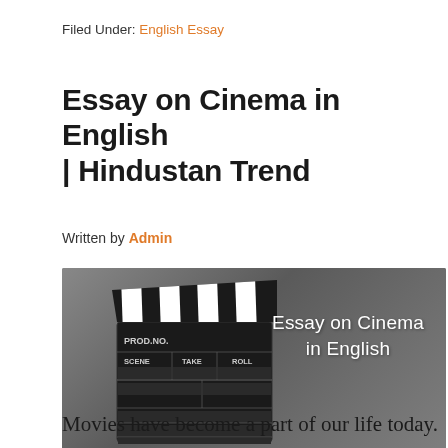Filed Under: English Essay
Essay on Cinema in English | Hindustan Trend
Written by Admin
[Figure (photo): A movie clapperboard on a grey concrete background with the text 'Essay on Cinema in English' and watermark 'HindustanTrend.Com']
Movies have become a part of our life today.